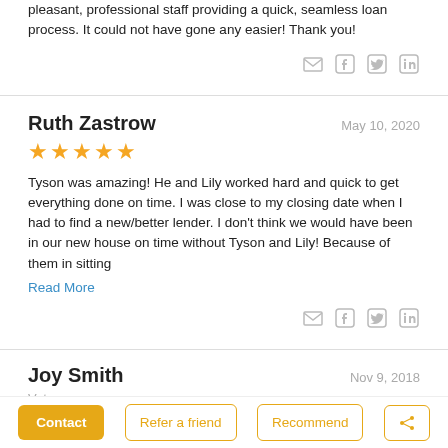pleasant, professional staff providing a quick, seamless loan process. It could not have gone any easier! Thank you!
Ruth Zastrow — May 10, 2020
★★★★★
Tyson was amazing! He and Lily worked hard and quick to get everything done on time. I was close to my closing date when I had to find a new/better lender. I don't think we would have been in our new house on time without Tyson and Lily! Because of them in sitting
Read More
Joy Smith — Nov 9, 2018
Veteran
★★★★★
Simply put Tyson is an Outstanding Gentleman to work with. He and his team are spot on with communication and expectations. Tyson
Contact | Refer a friend | Recommend | Share